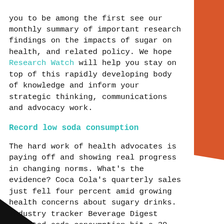you to be among the first see our monthly summary of important research findings on the impacts of sugar on health, and related policy. We hope Research Watch will help you stay on top of this rapidly developing body of knowledge and inform your strategic thinking, communications and advocacy work.
Record low soda consumption
The hard work of health advocates is paying off and showing real progress in changing norms. What’s the evidence? Coca Cola’s quarterly sales just fell four percent amid growing health concerns about sugary drinks. Industry tracker Beverage Digest reported soda consumption hit a 30-year low in 2015.
But we still consume unhealty amounts of